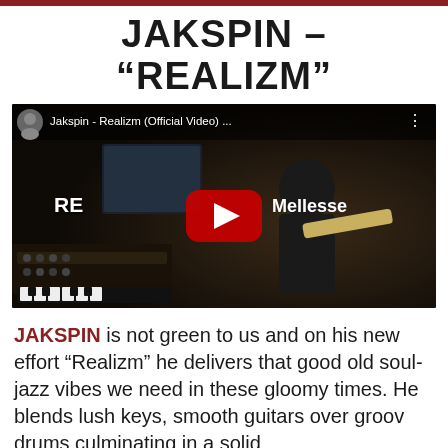JAKSPIN – “REALIZM”
[Figure (screenshot): YouTube video thumbnail/embed showing Jakspin - Realizm (Official Video) with a musician playing guitar in a recording studio, with a red YouTube play button overlay. Title bar reads 'Jakspin - Realizm (Official Video) ...']
JAKSPIN is not green to us and on his new effort “Realizm” he delivers that good old soul-jazz vibes we need in these gloomy times. He blends lush keys, smooth guitars over groov drums culminating in a solid